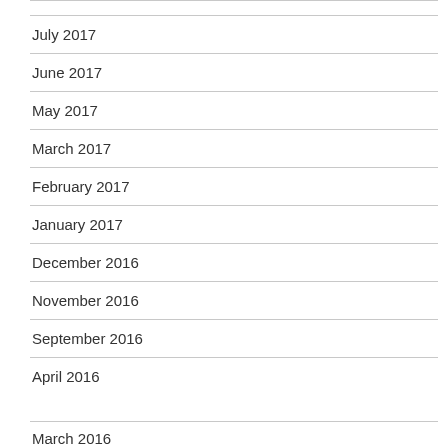July 2017
June 2017
May 2017
March 2017
February 2017
January 2017
December 2016
November 2016
September 2016
April 2016
March 2016